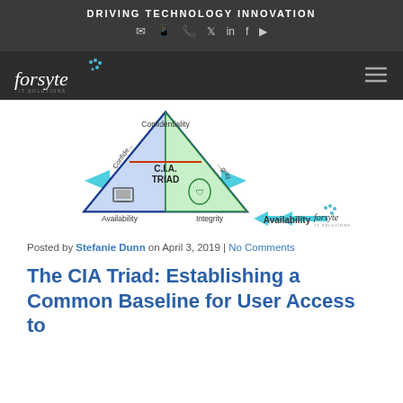DRIVING TECHNOLOGY INNOVATION
[Figure (illustration): CIA Triad triangle diagram showing Confidentiality at top, Availability at bottom-left, Integrity at bottom-right, with arrows and Forsyte IT Solutions logo]
Posted by Stefanie Dunn on April 3, 2019 | No Comments
The CIA Triad: Establishing a Common Baseline for User Access to